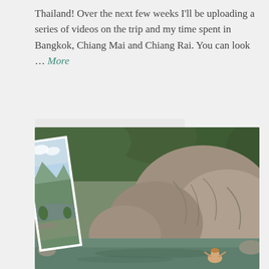Thailand! Over the next few weeks I'll be uploading a series of videos on the trip and my time spent in Bangkok, Chiang Mai and Chiang Rai. You can look … More
[Figure (photo): Icon bar with comment bubble and share/link icons on a light grey background]
[Figure (photo): Outdoor scene in Thailand with large rocks and a natural pool/waterfall area with a person in the water. A tilted portrait photo is overlaid on the left side showing a river valley with mountains.]